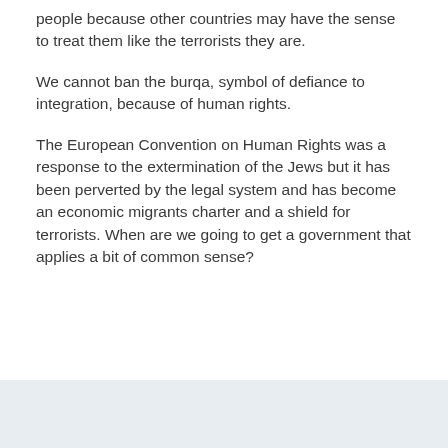people because other countries may have the sense to treat them like the terrorists they are.
We cannot ban the burqa, symbol of defiance to integration, because of human rights.
The European Convention on Human Rights was a response to the extermination of the Jews but it has been perverted by the legal system and has become an economic migrants charter and a shield for terrorists. When are we going to get a government that applies a bit of common sense?